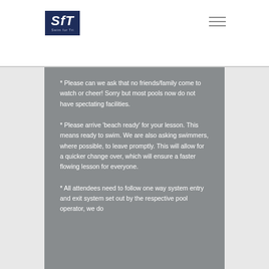SfT Swim for Tri
* Please can we ask that no friends/family come to watch or cheer! Sorry but most pools now do not have spectating facilities.
* Please arrive 'beach ready' for your lesson. This means ready to swim. We are also asking swimmers, where possible, to leave promptly. This will allow for a quicker change over, which will ensure a faster flowing lesson for everyone.
* All attendees need to follow one way system entry and exit system set out by the respective pool operator, we do